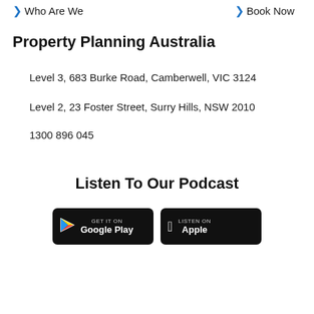Who Are We
Book Now
Property Planning Australia
Level 3, 683 Burke Road, Camberwell, VIC 3124
Level 2, 23 Foster Street, Surry Hills, NSW 2010
1300 896 045
Listen To Our Podcast
[Figure (other): Google Play and Apple App Store download badges]